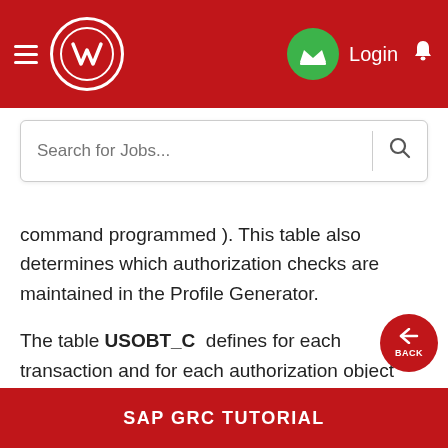SAP GRC TUTORIAL - navigation header with logo, login, and bell icon
command programmed ). This table also determines which authorization checks are maintained in the Profile Generator.
The table USOBT_C  defines for each transaction and for each authorization object which default values an authorization created from the authorization object should have in the Profile Generator.
SAP GRC TUTORIAL